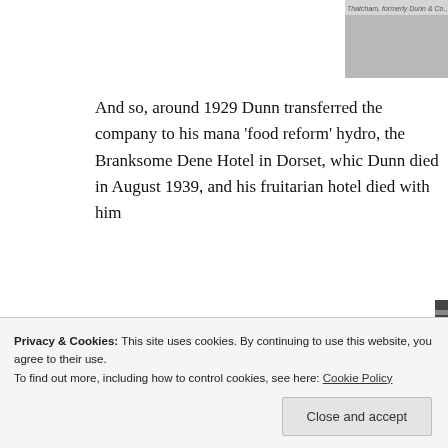[Figure (photo): Partial black and white photograph visible at top right corner, partially cut off]
And so, around 1929 Dunn transferred the company to his mana 'food reform' hydro, the Branksome Dene Hotel in Dorset, whic Dunn died in August 1939, and his fruitarian hotel died with him
Dunn's Shops
At the time of Dunn's retirement there were around 300 Dunn's plus franchises. Already, despite the small size of many of the o men's formal wear.
[Figure (photo): Black and white photograph of shop storefronts, partially visible at bottom right]
Privacy & Cookies: This site uses cookies. By continuing to use this website, you agree to their use.
To find out more, including how to control cookies, see here: Cookie Policy
Close and accept